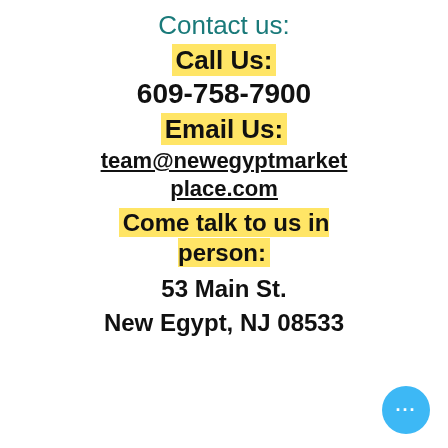Contact us:
Call Us:
609-758-7900
Email Us:
team@newegyptmarketplace.com
Come talk to us in person:
53 Main St.
New Egypt, NJ 08533
[Figure (other): Blue circular chat button with three dots]